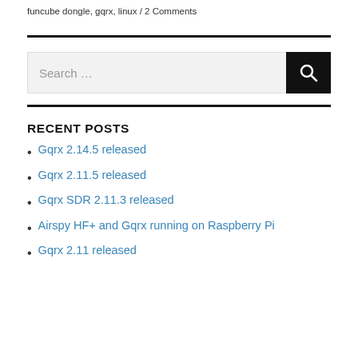funcube dongle, gqrx, linux / 2 Comments
RECENT POSTS
Gqrx 2.14.5 released
Gqrx 2.11.5 released
Gqrx SDR 2.11.3 released
Airspy HF+ and Gqrx running on Raspberry Pi
Gqrx 2.11 released